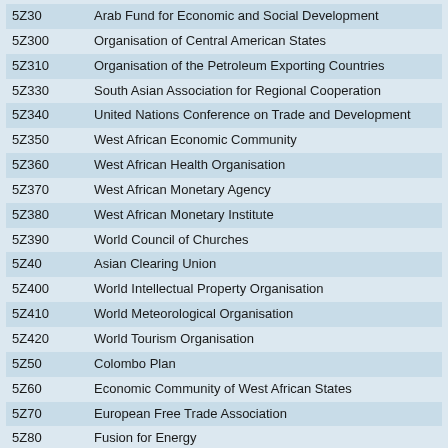| Code | Organisation |
| --- | --- |
| 5Z30 | Arab Fund for Economic and Social Development |
| 5Z300 | Organisation of Central American States |
| 5Z310 | Organisation of the Petroleum Exporting Countries |
| 5Z330 | South Asian Association for Regional Cooperation |
| 5Z340 | United Nations Conference on Trade and Development |
| 5Z350 | West African Economic Community |
| 5Z360 | West African Health Organisation |
| 5Z370 | West African Monetary Agency |
| 5Z380 | West African Monetary Institute |
| 5Z390 | World Council of Churches |
| 5Z40 | Asian Clearing Union |
| 5Z400 | World Intellectual Property Organisation |
| 5Z410 | World Meteorological Organisation |
| 5Z420 | World Tourism Organisation |
| 5Z50 | Colombo Plan |
| 5Z60 | Economic Community of West African States |
| 5Z70 | European Free Trade Association |
| 5Z80 | Fusion for Energy |
| 5Z90 | Intergovernmental Council of Copper Exporting Countries |